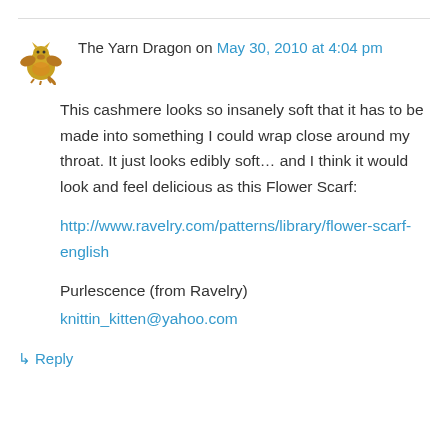The Yarn Dragon on May 30, 2010 at 4:04 pm
This cashmere looks so insanely soft that it has to be made into something I could wrap close around my throat. It just looks edibly soft… and I think it would look and feel delicious as this Flower Scarf:
http://www.ravelry.com/patterns/library/flower-scarf-english
Purlescence (from Ravelry)
knittin_kitten@yahoo.com
↳ Reply